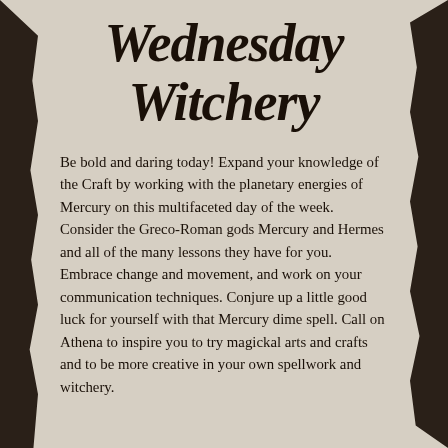Wednesday Witchery
Be bold and daring today! Expand your knowledge of the Craft by working with the planetary energies of Mercury on this multifaceted day of the week. Consider the Greco-Roman gods Mercury and Hermes and all of the many lessons they have for you. Embrace change and movement, and work on your communication techniques. Conjure up a little good luck for yourself with that Mercury dime spell. Call on Athena to inspire you to try magickal arts and crafts and to be more creative in your own spellwork and witchery.